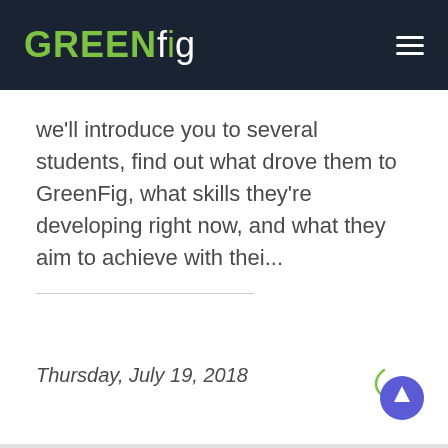GREENfig
we'll introduce you to several students, find out what drove them to GreenFig, what skills they're developing right now, and what they aim to achieve with thei...
Thursday, July 19, 2018